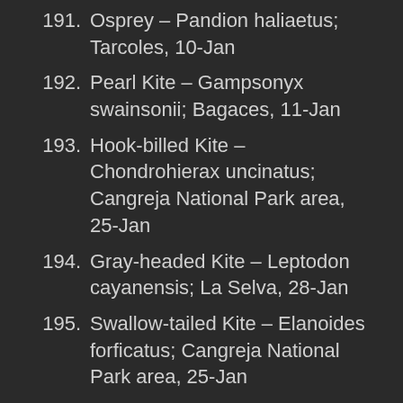191. Osprey – Pandion haliaetus; Tarcoles, 10-Jan
192. Pearl Kite – Gampsonyx swainsonii; Bagaces, 11-Jan
193. Hook-billed Kite – Chondrohierax uncinatus; Cangreja National Park area, 25-Jan
194. Gray-headed Kite – Leptodon cayanensis; La Selva, 28-Jan
195. Swallow-tailed Kite – Elanoides forficatus; Cangreja National Park area, 25-Jan
196. White-tailed Kite – Elanus leucurus; Calle Jocote, 1-Jan
197. Double-toothed Kite – Harpagus...